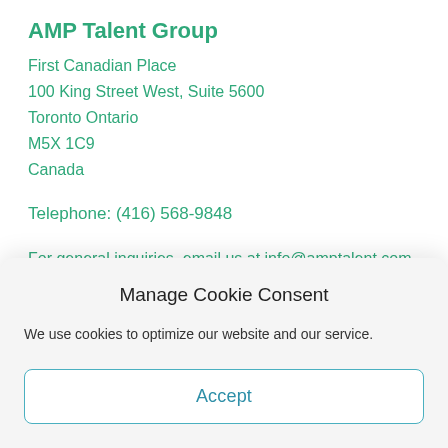AMP Talent Group
First Canadian Place
100 King Street West, Suite 5600
Toronto Ontario
M5X 1C9
Canada
Telephone: (416) 568-9848
For general inquiries, email us at info@amptalent.com
FOLLOW US!
Manage Cookie Consent
We use cookies to optimize our website and our service.
Accept